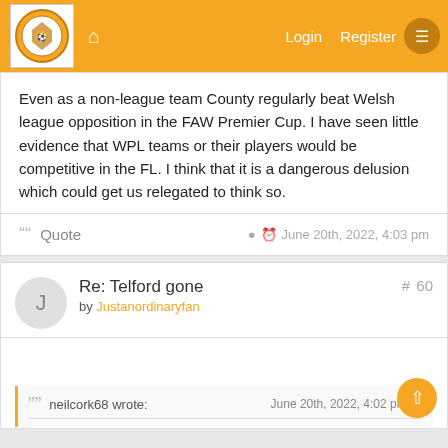Login  Register
Even as a non-league team County regularly beat Welsh league opposition in the FAW Premier Cup. I have seen little evidence that WPL teams or their players would be competitive in the FL. I think that it is a dangerous delusion which could get us relegated to think so.
Quote   June 20th, 2022, 4:03 pm
Re: Telford gone  # 60
by Justanordinaryfan
neilcork68 wrote:   June 20th, 2022, 4:02 pm